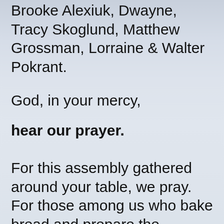Brooke Alexiuk, Dwayne, Tracy Skoglund, Matthew Grossman, Lorraine & Walter Pokrant.
God, in your mercy,
hear our prayer.
For this assembly gathered around your table, we pray. For those among us who bake bread and prepare the vessels for our communion celebration. For those who bring the food from this table to those who are homebound or